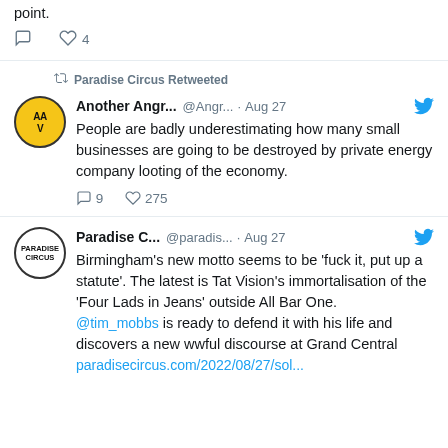point.
♡ 4
Paradise Circus Retweeted
Another Angr... @Angr... · Aug 27
People are badly underestimating how many small businesses are going to be destroyed by private energy company looting of the economy.
9  275
Paradise C... @paradis... · Aug 27
Birmingham's new motto seems to be 'fuck it, put up a statute'. The latest is Tat Vision's immortalisation of the 'Four Lads in Jeans' outside All Bar One. @tim_mobbs is ready to defend it with his life and discovers a new wwful discourse at Grand Central
paradisecircus.com/2022/08/27/sol...